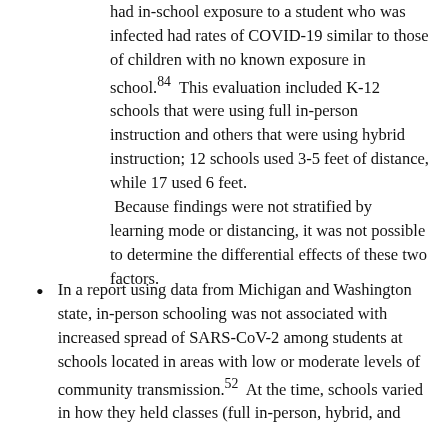had in-school exposure to a student who was infected had rates of COVID-19 similar to those of children with no known exposure in school.84 This evaluation included K-12 schools that were using full in-person instruction and others that were using hybrid instruction; 12 schools used 3-5 feet of distance, while 17 used 6 feet. Because findings were not stratified by learning mode or distancing, it was not possible to determine the differential effects of these two factors.
In a report using data from Michigan and Washington state, in-person schooling was not associated with increased spread of SARS-CoV-2 among students at schools located in areas with low or moderate levels of community transmission.52 At the time, schools varied in how they held classes (full in-person, hybrid, and